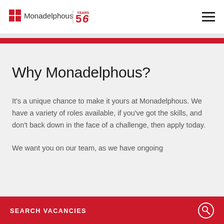Monadelphous | 50 Years
Why Monadelphous?
It's a unique chance to make it yours at Monadelphous. We have a variety of roles available, if you've got the skills, and don't back down in the face of a challenge, then apply today.
We want you on our team, as we have ongoing
SEARCH VACANCIES